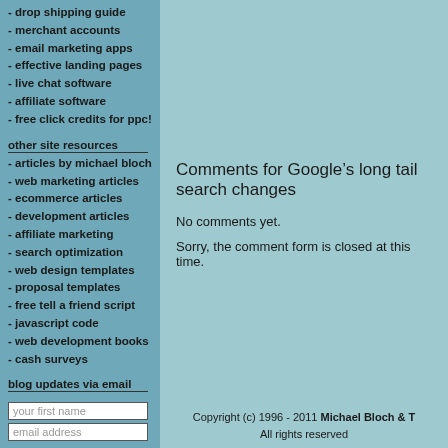- drop shipping guide
- merchant accounts
- email marketing apps
- effective landing pages
- live chat software
- affiliate software
- free click credits for ppc!
other site resources
- articles by michael bloch
- web marketing articles
- ecommerce articles
- development articles
- affiliate marketing
- search optimization
- web design templates
- proposal templates
- free tell a friend script
- javascript code
- web development books
- cash surveys
blog updates via email
Comments for Google’s long tail search changes
No comments yet.
Sorry, the comment form is closed at this time.
Copyright (c) 1996 - 2011 Michael Bloch & T
All rights reserved